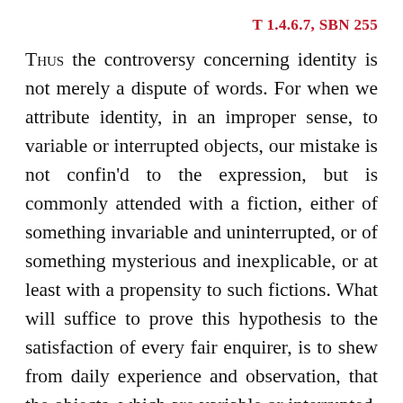T 1.4.6.7, SBN 255
Thus the controversy concerning identity is not merely a dispute of words. For when we attribute identity, in an improper sense, to variable or interrupted objects, our mistake is not confin'd to the expression, but is commonly attended with a fiction, either of something invariable and uninterrupted, or of something mysterious and inexplicable, or at least with a propensity to such fictions. What will suffice to prove this hypothesis to the satisfaction of every fair enquirer, is to shew from daily experience and observation, that the objects, which are variable or interrupted, and yet are suppos'd to